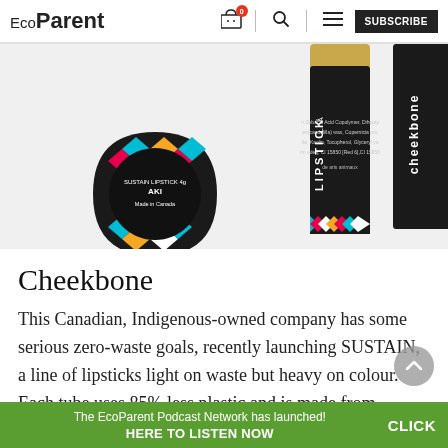EcoParent | SUBSCRIBE
[Figure (photo): Three Cheekbone SUSTAIN lipstick tubes in black cylindrical packaging with colorful geometric Indigenous-pattern bands, shown on a white background. Two tubes are standing upright and one is lying on its side showing the bottom label reading SUSTAIN LIPSTICK 4g AKI Made in Canada.]
Cheekbone
This Canadian, Indigenous-owned company has some serious zero-waste goals, recently launching SUSTAIN, a line of lipsticks light on waste but heavy on colour. Each tube uses 85% less plastic and is made from biodegradable materials (the—
The EcoParent Podcast Network has launched! HERE TO LISTEN NOW CLICK